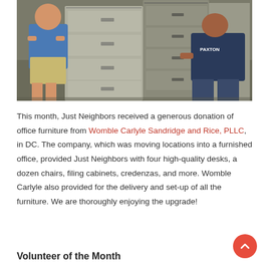[Figure (photo): Two men moving gray filing cabinets in an office. One man in a blue Paxton shirt is leaning over the cabinet on the right. Another man in a blue shirt and khaki shorts stands to the left.]
This month, Just Neighbors received a generous donation of office furniture from Womble Carlyle Sandridge and Rice, PLLC, in DC. The company, which was moving locations into a furnished office, provided Just Neighbors with four high-quality desks, a dozen chairs, filing cabinets, credenzas, and more. Womble Carlyle also provided for the delivery and set-up of all the furniture. We are thoroughly enjoying the upgrade!
Volunteer of the Month